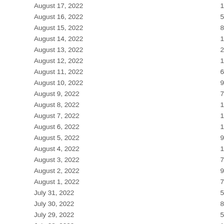| Date | Value |
| --- | --- |
| August 17, 2022 | 1 |
| August 16, 2022 | 5 |
| August 15, 2022 | 8 |
| August 14, 2022 | 1 |
| August 13, 2022 | 2 |
| August 12, 2022 | 1 |
| August 11, 2022 | 6 |
| August 10, 2022 | 9 |
| August 9, 2022 | 7 |
| August 8, 2022 | 1 |
| August 7, 2022 | 1 |
| August 6, 2022 | 1 |
| August 5, 2022 | 9 |
| August 4, 2022 | 1 |
| August 3, 2022 | 7 |
| August 2, 2022 | 9 |
| August 1, 2022 | 7 |
| July 31, 2022 | 5 |
| July 30, 2022 | 8 |
| July 29, 2022 | 5 |
| July 28, 2022 | 1 |
| July 27, 2022 | 1 |
| July 26, 2022 | 1 |